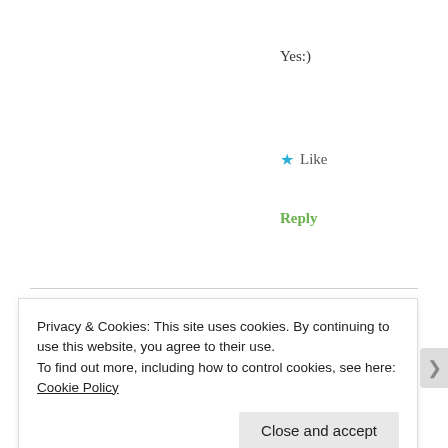Yes:)
★ Like
Reply
deepanilamani says: August 29, 2019 at 5:28 am
Seems a real entertaining movie, but I have not
Privacy & Cookies: This site uses cookies. By continuing to use this website, you agree to their use.
To find out more, including how to control cookies, see here: Cookie Policy
Close and accept